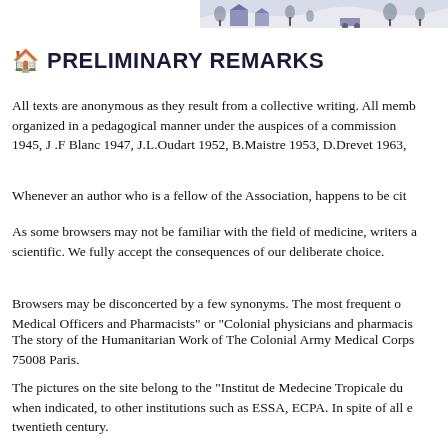[Figure (illustration): Decorative header illustration showing a colonial/tropical scene with buildings and trees in a sketched style, positioned at top right of page.]
🏠 PRELIMINARY REMARKS
All texts are anonymous as they result from a collective writing. All memb... organized in a pedagogical manner under the auspices of a commission... 1945, J .F Blanc 1947, J.L.Oudart 1952, B.Maistre 1953, D.Drevet 1963,
Whenever an author who is a fellow of the Association, happens to be cit...
As some browsers may not be familiar with the field of medicine, writers a... scientific. We fully accept the consequences of our deliberate choice.
Browsers may be disconcerted by a few synonyms. The most frequent o... Medical Officers and Pharmacists" or "Colonial physicians and pharmacis...
The story of the Humanitarian Work of The Colonial Army Medical Corps... 75008 Paris.
The pictures on the site belong to the "Institut de Medecine Tropicale du... when indicated, to other institutions such as ESSA, ECPA. In spite of all e... twentieth century.